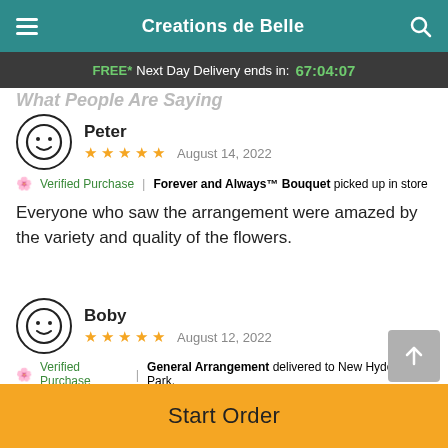Creations de Belle
FREE* Next Day Delivery ends in: 67:04:07
What People Are Saying
Peter
★★★★★ August 14, 2022
Verified Purchase | Forever and Always™ Bouquet picked up in store
Everyone who saw the arrangement were amazed by the variety and quality of the flowers.
Boby
★★★★★ August 12, 2022
Verified Purchase | General Arrangement delivered to New Hyde Park,
Start Order